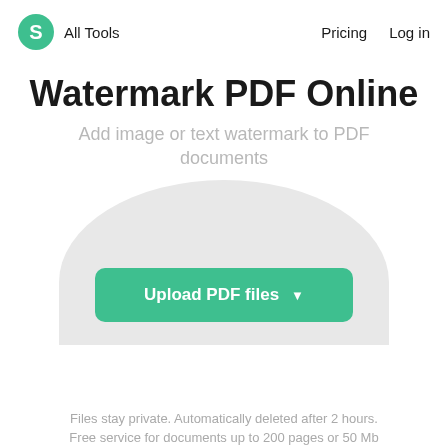S  All Tools    Pricing  Log in
Watermark PDF Online
Add image or text watermark to PDF documents
Upload PDF files
Files stay private. Automatically deleted after 2 hours. Free service for documents up to 200 pages or 50 Mb